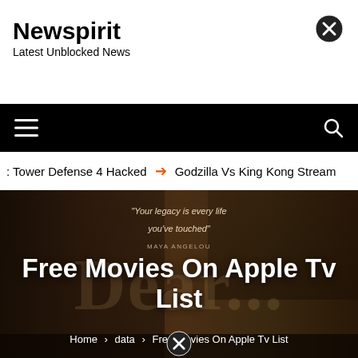Newspirit
Latest Unblocked News
[Figure (screenshot): Navigation bar with hamburger menu on left and search icon on right, black background]
Tower Defense 4 Hacked  ➔  Godzilla Vs King Kong Stream
[Figure (photo): Hero banner showing movie documentary scene with two people, quote text 'Your legacy is every life you've touched' - Maya Angelou, overlaid with large text 'Dear...' and article title 'Free Movies On Apple Tv List']
Free Movies On Apple Tv List
Home > data > Free Movies On Apple Tv List